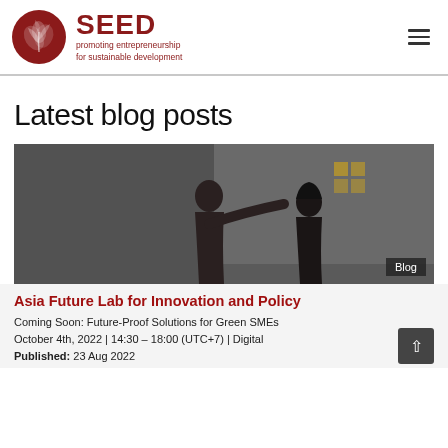[Figure (logo): SEED logo: circular dark red emblem with stylized leaf/sprout design, followed by bold red text 'SEED' and subtitle 'promoting entrepreneurship for sustainable development']
Latest blog posts
[Figure (photo): Dark-toned photo of two women, one pointing at something off-frame, in a workshop or office setting. A 'Blog' tag label appears in the bottom-right corner of the image.]
Asia Future Lab for Innovation and Policy
Coming Soon: Future-Proof Solutions for Green SMEs October 4th, 2022 | 14:30 – 18:00 (UTC+7) | Digital
Published: 23 Aug 2022